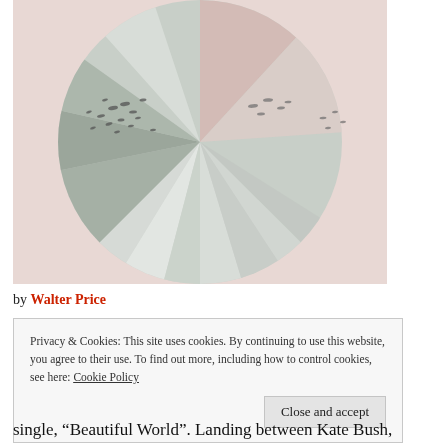[Figure (illustration): Album artwork or illustration showing a circular pie-chart-like geometric design with radiating wedge shapes in muted pink and grey tones, with silhouettes of birds flying across the center.]
by Walter Price
Privacy & Cookies: This site uses cookies. By continuing to use this website, you agree to their use. To find out more, including how to control cookies, see here: Cookie Policy
Close and accept
single, “Beautiful World”. Landing between Kate Bush,